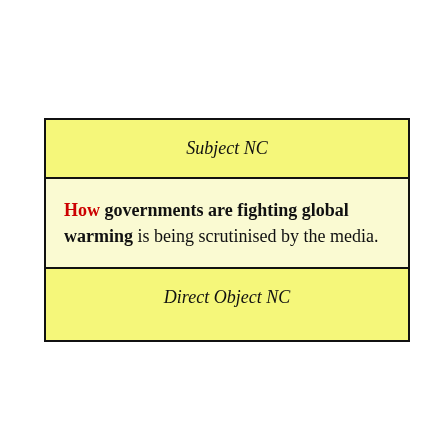Subject NC
How governments are fighting global warming is being scrutinised by the media.
Direct Object NC